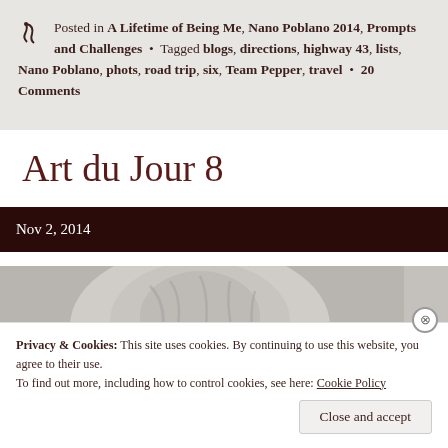Posted in A Lifetime of Being Me, Nano Poblano 2014, Prompts and Challenges • Tagged blogs, directions, highway 43, lists, Nano Poblano, phots, road trip, six, Team Pepper, travel • 20 Comments
Art du Jour 8
Nov 2, 2014
[Figure (photo): Black and white photograph partially visible, showing a blurred figure or face, partially obscured by a cookie consent banner.]
Privacy & Cookies: This site uses cookies. By continuing to use this website, you agree to their use. To find out more, including how to control cookies, see here: Cookie Policy
Close and accept